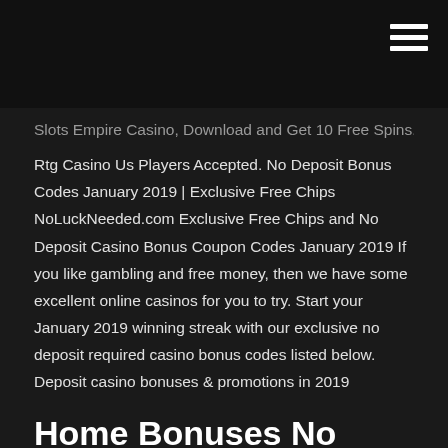[navigation bar with hamburger menu]
Slots Empire Casino, Download and Get 10 Free Spins. No Rtg Casino Us Players Accepted. No Deposit Bonus Codes January 2019 | Exclusive Free Chips NoLuckNeeded.com Exclusive Free Chips and No Deposit Casino Bonus Coupon Codes January 2019 If you like gambling and free money, then we have some excellent online casinos for you to try. Start your January 2019 winning streak with our exclusive no deposit required casino bonus codes listed below. Deposit casino bonuses & promotions in 2019
Home Bonuses No Deposit Bonuses No Deposit Casino Bonus Codes for 2019. The list is based mostly on your country, as